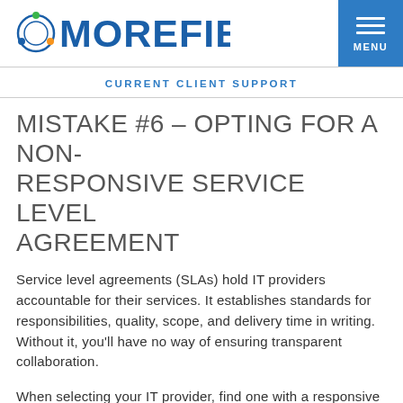MOREFIELD | MENU
CURRENT CLIENT SUPPORT
MISTAKE #6 – OPTING FOR A NON-RESPONSIVE SERVICE LEVEL AGREEMENT
Service level agreements (SLAs) hold IT providers accountable for their services. It establishes standards for responsibilities, quality, scope, and delivery time in writing. Without it, you'll have no way of ensuring transparent collaboration.
When selecting your IT provider, find one with a responsive agreement. It can help guarantee the SLA scales with their services while rendering continual improvement.